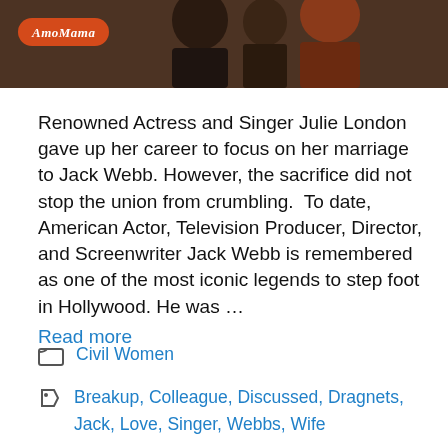[Figure (photo): Top portion of a photo showing people, with AmoMama logo badge in bottom-left corner of the image]
Renowned Actress and Singer Julie London gave up her career to focus on her marriage to Jack Webb. However, the sacrifice did not stop the union from crumbling. To date, American Actor, Television Producer, Director, and Screenwriter Jack Webb is remembered as one of the most iconic legends to step foot in Hollywood. He was … Read more
Civil Women
Breakup, Colleague, Discussed, Dragnets, Jack, Love, Singer, Webbs, Wife